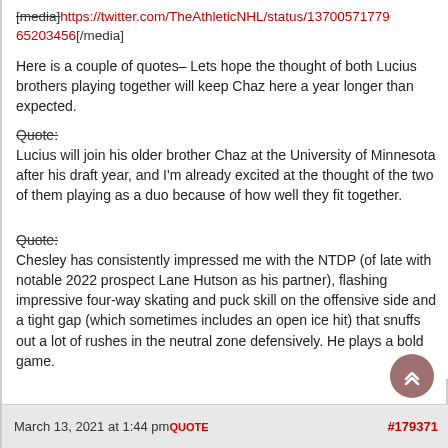[media]https://twitter.com/TheAthleticNHL/status/137005717796 5203456[/media]
Here is a couple of quotes– Lets hope the thought of both Lucius brothers playing together will keep Chaz here a year longer than expected.
Quote:
Lucius will join his older brother Chaz at the University of Minnesota after his draft year, and I'm already excited at the thought of the two of them playing as a duo because of how well they fit together.
Quote:
Chesley has consistently impressed me with the NTDP (of late with notable 2022 prospect Lane Hutson as his partner), flashing impressive four-way skating and puck skill on the offensive side and a tight gap (which sometimes includes an open ice hit) that snuffs out a lot of rushes in the neutral zone defensively. He plays a bold game.
March 13, 2021 at 1:44 pm QUOTE #179371